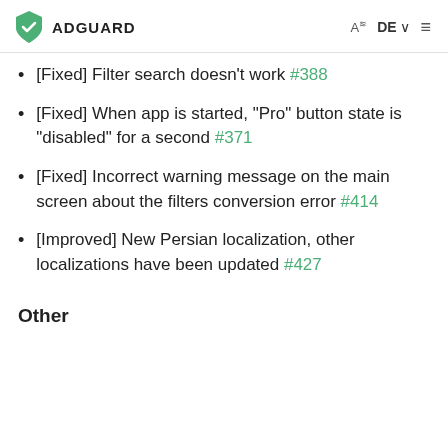ADGUARD  DE
[Fixed] Filter search doesn't work #388
[Fixed] When app is started, "Pro" button state is "disabled" for a second #371
[Fixed] Incorrect warning message on the main screen about the filters conversion error #414
[Improved] New Persian localization, other localizations have been updated #427
Other